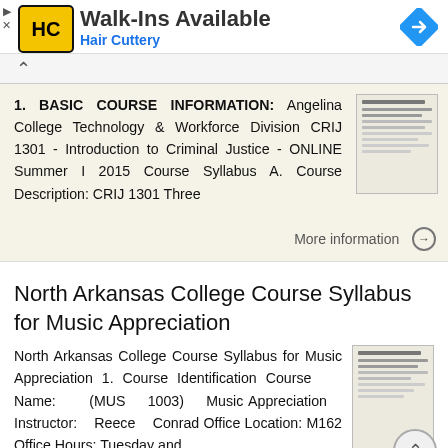[Figure (logo): Hair Cuttery advertisement banner with HC logo, Walk-Ins Available text, and navigation icon]
1. BASIC COURSE INFORMATION: Angelina College Technology & Workforce Division CRIJ 1301 - Introduction to Criminal Justice - ONLINE Summer I 2015 Course Syllabus A. Course Description: CRIJ 1301 Three
More information →
North Arkansas College Course Syllabus for Music Appreciation
North Arkansas College Course Syllabus for Music Appreciation 1. Course Identification Course Name: (MUS 1003) Music Appreciation Instructor: Reece Conrad Office Location: M162 Office Hours: Tuesday and